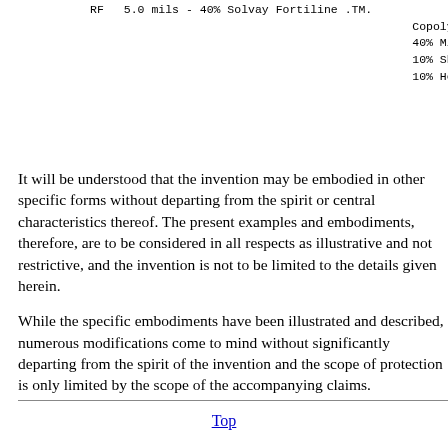RF   5.0 mils - 40% Solvay Fortiline .TM. Copolymer 4208
40% Mitsui Tafmer .TM. UL
10% Shell Kraton .TM. RP
10% Henkel Macromelt .TM
It will be understood that the invention may be embodied in other specific forms without departing from the spirit or central characteristics thereof. The present examples and embodiments, therefore, are to be considered in all respects as illustrative and not restrictive, and the invention is not to be limited to the details given herein.
While the specific embodiments have been illustrated and described, numerous modifications come to mind without significantly departing from the spirit of the invention and the scope of protection is only limited by the scope of the accompanying claims.
Top